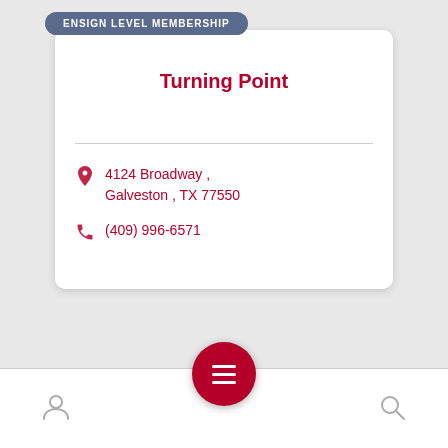ENSIGN LEVEL MEMBERSHIP
Turning Point
4124 Broadway , Galveston , TX 77550
(409) 996-6571